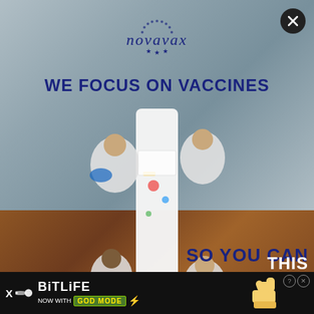[Figure (logo): Novavax logo with italic text and decorative dots forming a circle with stars]
WE FOCUS ON VACCINES
[Figure (photo): Aerial top-down view of scientists in white lab coats working around a white laboratory table, with various colorful lab materials; the image spans both the blue-grey metallic top background and warm brown wood-grain bottom background]
SO YOU CAN
THIS
[Figure (infographic): BitLife mobile game advertisement banner at bottom: black background with sperm icon, BitLife logo in white, 'NOW WITH GOD MODE' badge in yellow/green, lightning bolt, thumbs-up hand icon, help and close buttons]